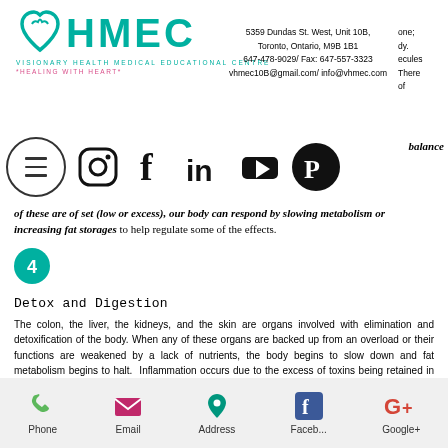[Figure (logo): VHMEC logo with teal heart icon, text VHMEC, subtitle VISIONARY HEALTH MEDICAL EDUCATIONAL CENTRE, tagline *HEALING WITH HEART*]
5359 Dundas St. West, Unit 10B, Toronto, Ontario, M9B 1B1
647-478-9029/ Fax: 647-557-3323
vhmec10B@gmail.com/ info@vhmec.com
[Figure (infographic): Navigation bar with hamburger menu circle and social media icons: Instagram, Facebook, LinkedIn, YouTube, Pinterest]
...balance of these are of set (low or excess), our body can respond by slowing metabolism or increasing fat storages to help regulate some of the effects.
[Figure (infographic): Teal circle with number 4 inside]
Detox and Digestion
The colon, the liver, the kidneys, and the skin are organs involved with elimination and detoxification of the body. When any of these organs are backed up from an overload or their functions are weakened by a lack of nutrients, the body begins to slow down and fat metabolism begins to halt. Inflammation occurs due to the excess of toxins being retained in the system. The body responds to the
Phone  Email  Address  Faceb...  Google+